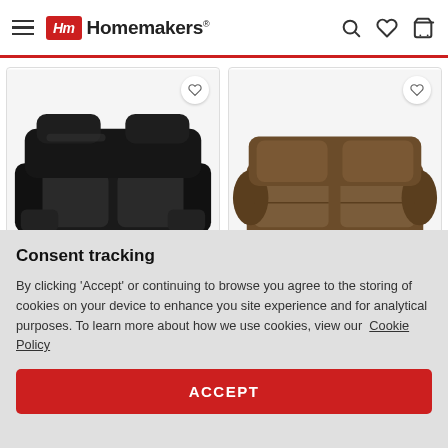Homemakers
[Figure (photo): Flexsteel Trip Leather Power Recline Loveseat — dark brown/black leather reclining loveseat on white background]
[Figure (photo): Ashley Bladen Coffee Loveseat — brown fabric loveseat on white background]
Flexsteel Trip Leather Power Recline Loveseat
Ashley Bladen Coffee Loveseat
Consent tracking
By clicking 'Accept' or continuing to browse you agree to the storing of cookies on your device to enhance you site experience and for analytical purposes. To learn more about how we use cookies, view our  Cookie Policy
ACCEPT